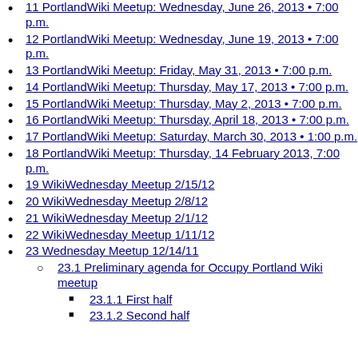11 PortlandWiki Meetup: Wednesday, June 26, 2013 • 7:00 p.m.
12 PortlandWiki Meetup: Wednesday, June 19, 2013 • 7:00 p.m.
13 PortlandWiki Meetup: Friday, May 31, 2013 • 7:00 p.m.
14 PortlandWiki Meetup: Thursday, May 17, 2013 • 7:00 p.m.
15 PortlandWiki Meetup: Thursday, May 2, 2013 • 7:00 p.m.
16 PortlandWiki Meetup: Thursday, April 18, 2013 • 7:00 p.m.
17 PortlandWiki Meetup: Saturday, March 30, 2013 • 1:00 p.m.
18 PortlandWiki Meetup: Thursday, 14 February 2013, 7:00 p.m.
19 WikiWednesday Meetup 2/15/12
20 WikiWednesday Meetup 2/8/12
21 WikiWednesday Meetup 2/1/12
22 WikiWednesday Meetup 1/11/12
23 Wednesday Meetup 12/14/11
23.1 Preliminary agenda for Occupy Portland Wiki meetup
23.1.1 First half
23.1.2 Second half